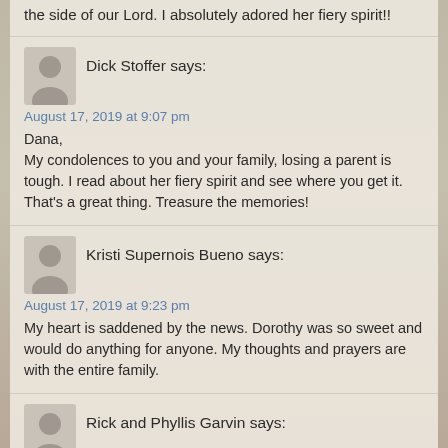the side of our Lord. I absolutely adored her fiery spirit!!
Dick Stoffer says:
August 17, 2019 at 9:07 pm
Dana,
My condolences to you and your family, losing a parent is tough. I read about her fiery spirit and see where you get it. That's a great thing. Treasure the memories!
Kristi Supernois Bueno says:
August 17, 2019 at 9:23 pm
My heart is saddened by the news. Dorothy was so sweet and would do anything for anyone. My thoughts and prayers are with the entire family.
Rick and Phyllis Garvin says:
August 18, 2019 at 12:58 am